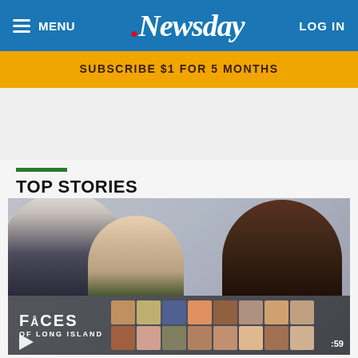MENU | Newsday | LOG IN
SUBSCRIBE $1 FOR 5 MONTHS
TOP STORIES
[Figure (photo): Three people laughing together in what appears to be an office or meeting room setting. An older man in a suit and glasses on the left, a young woman with light hair in the center, and a woman with dark hair on the right covering her mouth while laughing. Below them is an overlay strip showing 'FACES OF LONG ISLAND' text with a grid of portrait photos of various people.]